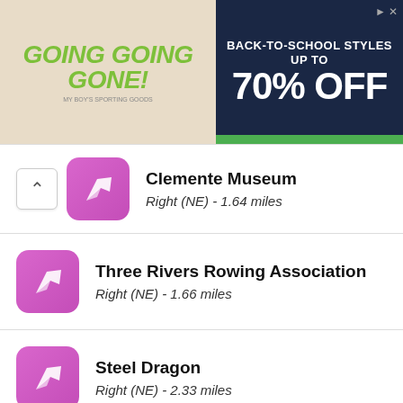[Figure (screenshot): Advertisement banner: Going Going Gone! Back-to-school styles up to 70% off]
Clemente Museum — Right (NE) - 1.64 miles
Three Rivers Rowing Association — Right (NE) - 1.66 miles
Steel Dragon — Right (NE) - 2.33 miles
Arsenal Bowling Lanes — Right (NE) - 2.38 miles